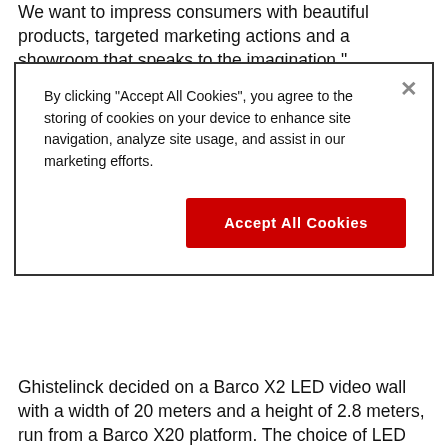We want to impress consumers with beautiful products, targeted marketing actions and a showroom that speaks to the imagination.
[Figure (screenshot): Cookie consent dialog box with text: 'By clicking "Accept All Cookies", you agree to the storing of cookies on your device to enhance site navigation, analyze site usage, and assist in our marketing efforts.' and a red 'Accept All Cookies' button, plus a close (X) button.]
Ghistelinck decided on a Barco X2 LED video wall with a width of 20 meters and a height of 2.8 meters, run from a Barco X20 platform. The choice of LED over projection ensures perfect image quality, even in broad daylight. "The screen has an enormous impact just from its sheer size," says Yserbyt. "Before you even step foot inside the showroom, you're immersed in the world of Mercedes-Benz. The vehicles are displayed life-sized and presented in their actual driving environments."